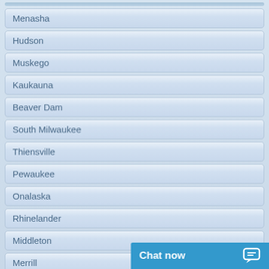Menasha
Hudson
Muskego
Kaukauna
Beaver Dam
South Milwaukee
Thiensville
Pewaukee
Onalaska
Rhinelander
Middleton
Merrill
Stoughton
Chat now